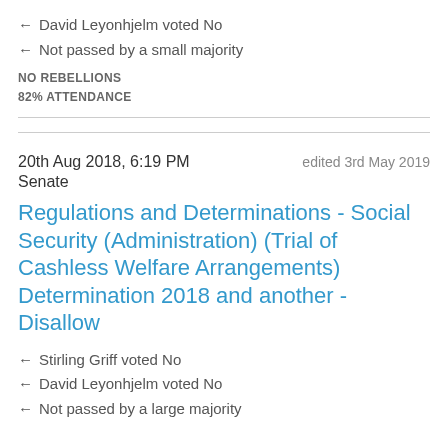← David Leyonhjelm voted No
← Not passed by a small majority
NO REBELLIONS
82% ATTENDANCE
20th Aug 2018, 6:19 PM   edited 3rd May 2019
Senate
Regulations and Determinations - Social Security (Administration) (Trial of Cashless Welfare Arrangements) Determination 2018 and another - Disallow
← Stirling Griff voted No
← David Leyonhjelm voted No
← Not passed by a large majority